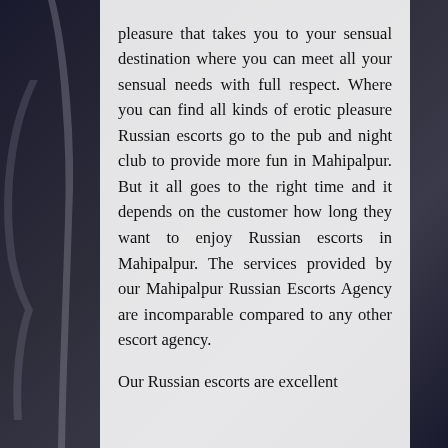pleasure that takes you to your sensual destination where you can meet all your sensual needs with full respect. Where you can find all kinds of erotic pleasure Russian escorts go to the pub and night club to provide more fun in Mahipalpur. But it all goes to the right time and it depends on the customer how long they want to enjoy Russian escorts in Mahipalpur. The services provided by our Mahipalpur Russian Escorts Agency are incomparable compared to any other escort agency.

Our Russian escorts are excellent